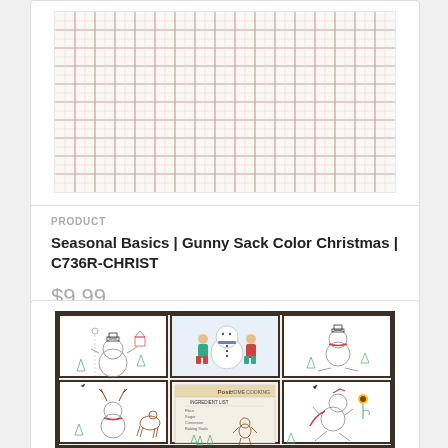[Figure (photo): Plaid fabric texture with red and light grid lines on cream/white background — Gunny Sack Color Christmas fabric]
PRODUCT
Seasonal Basics | Gunny Sack Color Christmas | C736R-CHRIST
$9.99
[Figure (photo): Panel of 6 snowman-themed embroidery/illustration squares with dark checkered border — various snowman scenes including children building a snowman, a snowman with reindeer antlers, a snowman with recipe card, and flying snowman]